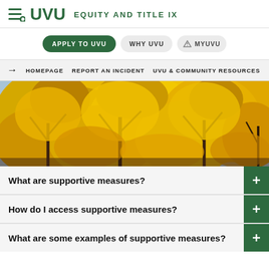UVU EQUITY AND TITLE IX
APPLY TO UVU | WHY UVU | MYUVU
HOMEPAGE | REPORT AN INCIDENT | UVU & COMMUNITY RESOURCES
[Figure (photo): Autumn tree canopy with bright yellow and orange leaves against a blue sky]
What are supportive measures?
How do I access supportive measures?
What are some examples of supportive measures?